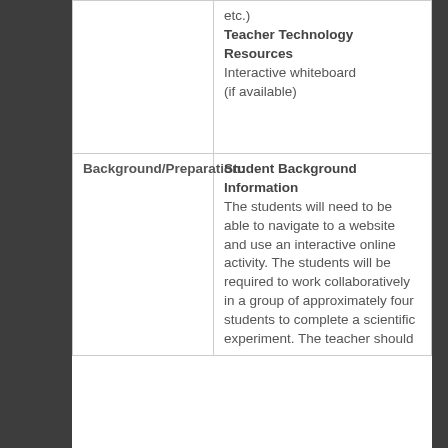|  | etc.)
Teacher Technology Resources
Interactive whiteboard (if available) |
| Background/Preparation: | Student Background Information
The students will need to be able to navigate to a website and use an interactive online activity. The students will be required to work collaboratively in a group of approximately four students to complete a scientific experiment. The teacher should |